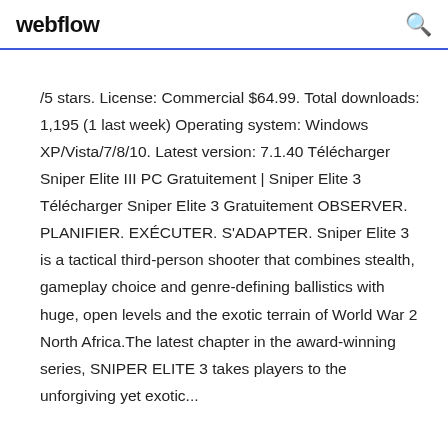webflow
/5 stars. License: Commercial $64.99. Total downloads: 1,195 (1 last week) Operating system: Windows XP/Vista/7/8/10. Latest version: 7.1.40 Télécharger Sniper Elite III PC Gratuitement | Sniper Elite 3 Télécharger Sniper Elite 3 Gratuitement OBSERVER. PLANIFIER. EXÉCUTER. S'ADAPTER. Sniper Elite 3 is a tactical third-person shooter that combines stealth, gameplay choice and genre-defining ballistics with huge, open levels and the exotic terrain of World War 2 North Africa.The latest chapter in the award-winning series, SNIPER ELITE 3 takes players to the unforgiving yet exotic...